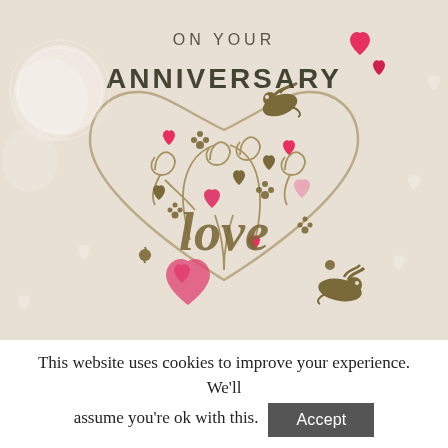[Figure (illustration): Anniversary greeting card illustration with a large decorative heart made of golden swirls, flowers, birds (doves), red and pink hearts, and the word 'love' in cursive script in the center. Text at top reads 'ON YOUR ANNIVERSARY'. Background is beige/cream with white heart watermarks.]
This website uses cookies to improve your experience. We'll assume you're ok with this. Accept